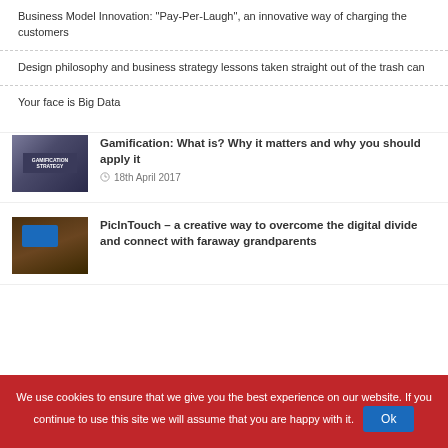Business Model Innovation: “Pay-Per-Laugh”, an innovative way of charging the customers
Design philosophy and business strategy lessons taken straight out of the trash can
Your face is Big Data
[Figure (photo): Thumbnail image showing a laptop with 'Gamification Strategy' on screen, surrounded by books/binders]
Gamification: What is? Why it matters and why you should apply it
18th April 2017
[Figure (photo): Thumbnail image of a PicInTouch device, brown/wood-colored frame with blue screen and buttons]
PicInTouch – a creative way to overcome the digital divide and connect with faraway grandparents
We use cookies to ensure that we give you the best experience on our website. If you continue to use this site we will assume that you are happy with it.